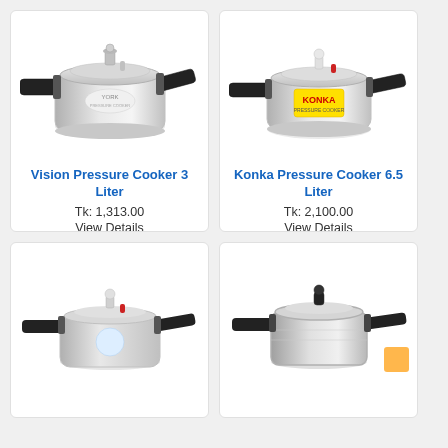[Figure (photo): Vision pressure cooker 3 liter, silver aluminum body with black handles]
Vision Pressure Cooker 3 Liter
Tk: 1,313.00
View Details
[Figure (photo): Konka pressure cooker 6.5 liter, silver aluminum body with black handles and yellow/red label]
Konka Pressure Cooker 6.5 Liter
Tk: 2,100.00
View Details
[Figure (photo): Pressure cooker, silver body with black handles, partially shown]
[Figure (photo): Pressure cooker, stainless steel body with black handles, partially shown]